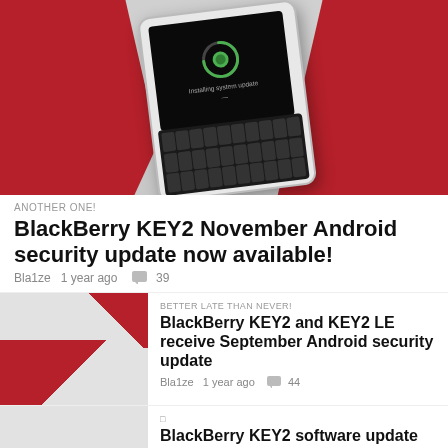[Figure (photo): BlackBerry KEY2 smartphone lying on a red and white background with screen showing 'Installing system update' message and visible QWERTY keyboard]
ANOTHER ONE!
BlackBerry KEY2 November Android security update now available!
Bla1ze   1 year ago   39
BETTER LATE THAN NEVER!
BlackBerry KEY2 and KEY2 LE receive September Android security update
Bla1ze   1 year ago   44
BlackBerry KEY2 software update ACN424 now available
Bla1ze   2 years ago   58